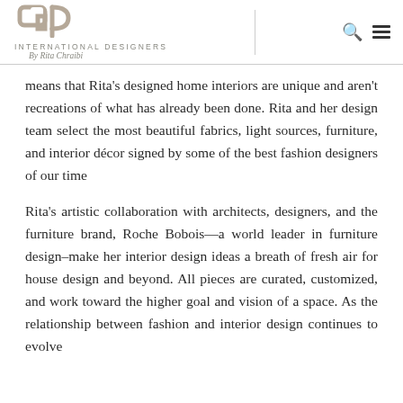INTERNATIONAL DESIGNERS By Rita Chraibi
means that Rita's designed home interiors are unique and aren't recreations of what has already been done. Rita and her design team select the most beautiful fabrics, light sources, furniture, and interior décor signed by some of the best fashion designers of our time
Rita's artistic collaboration with architects, designers, and the furniture brand, Roche Bobois—a world leader in furniture design–make her interior design ideas a breath of fresh air for house design and beyond. All pieces are curated, customized, and work toward the higher goal and vision of a space. As the relationship between fashion and interior design continues to evolve